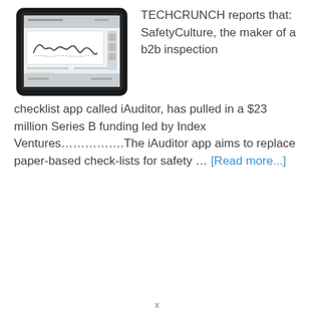[Figure (screenshot): Tablet/iPad device showing a signature on a form in an app interface (iAuditor app screenshot)]
TECHCRUNCH reports that: SafetyCulture, the maker of a b2b inspection checklist app called iAuditor, has pulled in a $23 million Series B funding led by Index Ventures…………….The iAuditor app aims to replace paper-based check-lists for safety … [Read more...]